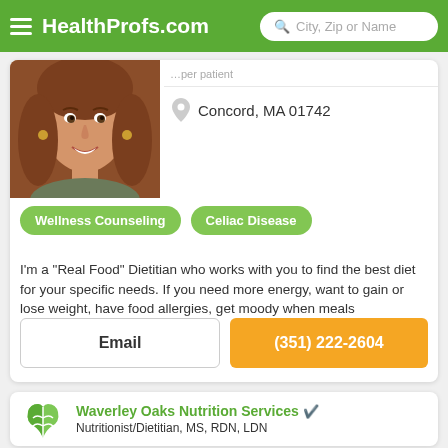HealthProfs.com
[Figure (photo): Profile photo of a smiling woman with long auburn/brown hair, wearing a khaki jacket and gold earrings]
Concord, MA 01742
Wellness Counseling
Celiac Disease
I'm a "Real Food" Dietitian who works with you to find the best diet for your specific needs. If you need more energy, want to gain or lose weight, have food allergies, get moody when meals
Email
(351) 222-2604
Waverley Oaks Nutrition Services
Nutritionist/Dietitian, MS, RDN, LDN